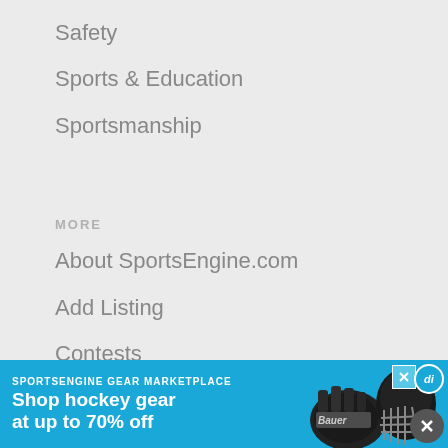Safety
Sports & Education
Sportsmanship
MORE
About SportsEngine.com
Add Listing
Contests
RSS
Submit an Article
[Figure (infographic): Advertisement banner for SportsEngine Gear Marketplace: 'Shop hockey gear at up to 70% off' with hockey equipment imagery (Bauer gloves and helmet), close button (X), and di badge.]